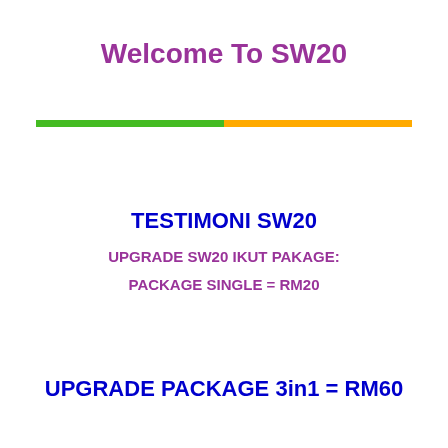Welcome To SW20
[Figure (other): Two horizontal colored bars: green on the left half, orange on the right half]
TESTIMONI SW20
UPGRADE SW20 IKUT PAKAGE:
PACKAGE SINGLE = RM20
UPGRADE PACKAGE 3in1 = RM60